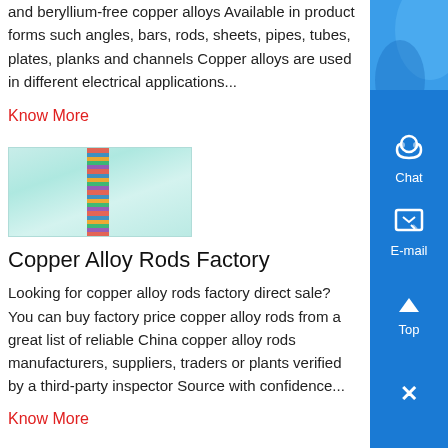and beryllium-free copper alloys Available in product forms such angles, bars, rods, sheets, pipes, tubes, plates, planks and channels Copper alloys are used in different electrical applications...
Know More
[Figure (photo): Photo of copper alloy rods or metal bars arranged in rows, viewed from above, with blue-green background]
Copper Alloy Rods Factory
Looking for copper alloy rods factory direct sale? You can buy factory price copper alloy rods from a great list of reliable China copper alloy rods manufacturers, suppliers, traders or plants verified by a third-party inspector Source with confidence...
Know More